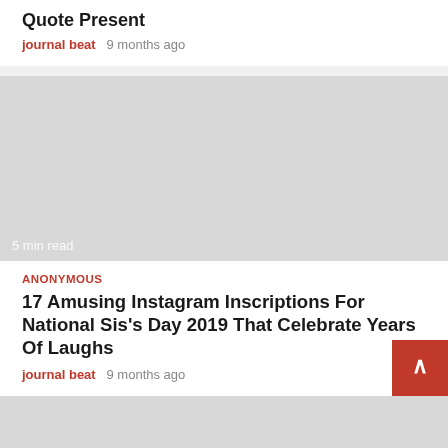Quote Present
journal beat   9 months ago
[Figure (photo): Gray placeholder image block with '5 min read' label at bottom left]
ANONYMOUS
17 Amusing Instagram Inscriptions For National Sis's Day 2019 That Celebrate Years Of Laughs
journal beat   9 months ago
[Figure (photo): Gray placeholder image block at bottom of page, partially visible]